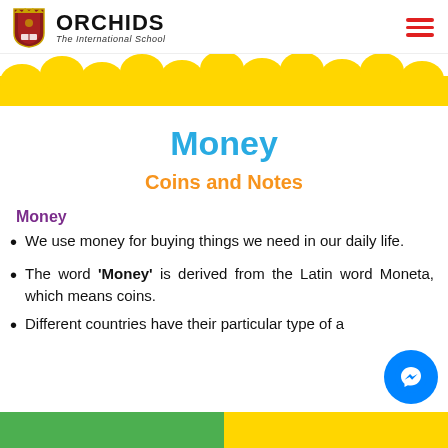ORCHIDS The International School
[Figure (illustration): Yellow scallop/cloud decorative banner strip]
Money
Coins and Notes
Money
We use money for buying things we need in our daily life.
The word 'Money' is derived from the Latin word Moneta, which means coins.
Different countries have their particular type of a